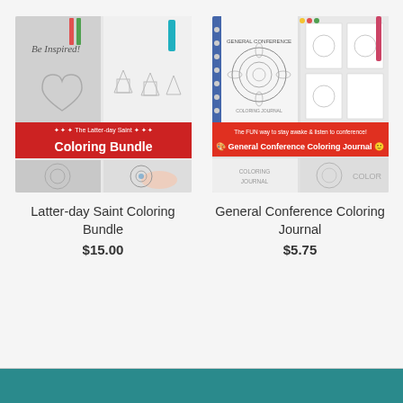[Figure (illustration): Product image for Latter-day Saint Coloring Bundle showing coloring pages with mandalas, temples, and a red banner reading 'The Latter-day Saint Coloring Bundle']
Latter-day Saint Coloring Bundle
$15.00
[Figure (illustration): Product image for General Conference Coloring Journal showing a spiral-bound journal with mandala designs and a banner reading 'The FUN way to stay awake & listen to conference! General Conference Coloring Journal']
General Conference Coloring Journal
$5.75